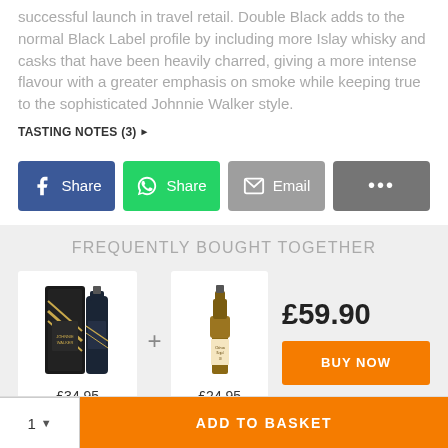successful launch in travel retail. Double Black adds to the normal Black Label profile by including more Islay whisky and casks that have been heavily charred, giving a more intense flavour with a greater emphasis on smoke while keeping true to the sophisticated Johnnie Walker style.
TASTING NOTES (3) ▶
[Figure (screenshot): Four share/action buttons: Facebook Share (blue), WhatsApp Share (green), Email (grey), More options dots (grey)]
FREQUENTLY BOUGHT TOGETHER
[Figure (photo): Johnnie Walker Double Black bottle with box (£34.95) and a second whisky bottle (£24.95), shown as frequently bought together bundle for £59.90 with BUY NOW button]
[Figure (screenshot): Bottom bar with quantity selector (1) and ADD TO BASKET orange button]